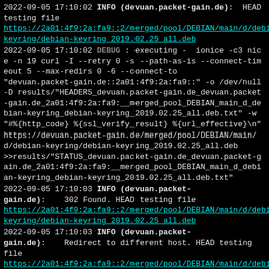2022-09-05 17:10:02 INFO (devuan.packet-gain.de): HEAD testing file https://2a01:4f9:2a:fa9::2/merged/pool/DEBIAN/main/d/debian-keyring/debian-keyring_2019.02.25_all.deb
2022-09-05 17:10:02 DEBUG : executing - ionice -c3 nice -n 19 curl -I --retry 0 -s --path-as-is --connect-timeout 5 --max-redirs 0 -6 --connect-to "devuan.packet-gain.de::2a01:4f9:2a:fa9::" -o /dev/null -D results/"HEADERS_devuan.packet-gain.de_devuan.packet-gain.de_2a01:4f9:2a:fa9:__merged_pool_DEBIAN_main_d_debian-keyring_debian-keyring_2019.02.25_all.deb.txt" -w "#%{http_code} %{ssl_verify_result} %{url_effective}\n" https://devuan.packet-gain.de/merged/pool/DEBIAN/main/d/debian-keyring/debian-keyring_2019.02.25_all.deb >>results/"STATUS_devuan.packet-gain.de_devuan.packet-gain.de_2a01:4f9:2a:fa9:__merged_pool_DEBIAN_main_d_debian-keyring_debian-keyring_2019.02.25_all.deb.txt"
2022-09-05 17:10:03 INFO (devuan.packet-gain.de): 302 Found. HEAD testing file https://2a01:4f9:2a:fa9::2/merged/pool/DEBIAN/main/d/debian-keyring/debian-keyring_2019.02.25_all.deb
2022-09-05 17:10:03 INFO (devuan.packet-gain.de): Redirect to different host. HEAD testing file https://2a01:4f9:2a:fa9::2/merged/pool/DEBIAN/main/d/debian-keyring/debian-keyring_2019.02.25_all.deb -> https://deb.debian.org/debian/pool/main/d/debian-keyring/debian-